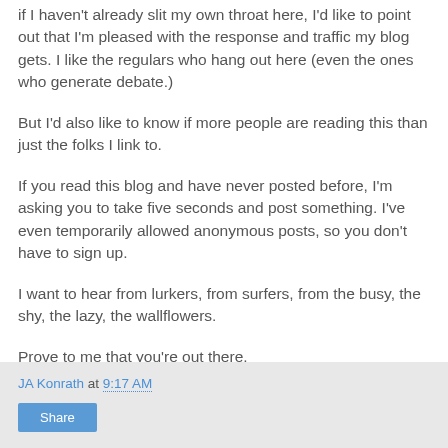if I haven't already slit my own throat here, I'd like to point out that I'm pleased with the response and traffic my blog gets. I like the regulars who hang out here (even the ones who generate debate.)
But I'd also like to know if more people are reading this than just the folks I link to.
If you read this blog and have never posted before, I'm asking you to take five seconds and post something. I've even temporarily allowed anonymous posts, so you don't have to sign up.
I want to hear from lurkers, from surfers, from the busy, the shy, the lazy, the wallflowers.
Prove to me that you're out there.
JA Konrath at 9:17 AM  Share